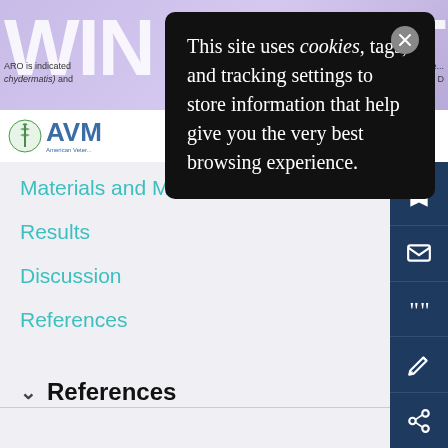[Figure (screenshot): Website screenshot of a veterinary/medical journal site (likely JAVMA) with a cookie consent popup overlay, navigation bar with AVMA logo, and table of contents links.]
This site uses cookies, tags, and tracking settings to store information that help give you the very best browsing experience.
Materials and Methods
Results
Discussion
References
References